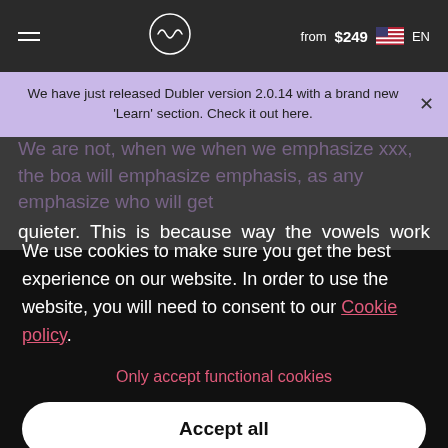from $249 EN
We have just released Dubler version 2.0.14 with a brand new 'Learn' section. Check it out here.
quieter. This is because way the vowels work make it so that when one is emphasized the others' values go down.
We use cookies to make sure you get the best experience on our website. In order to use the website, you will need to consent to our Cookie policy.
Only accept functional cookies
Accept all